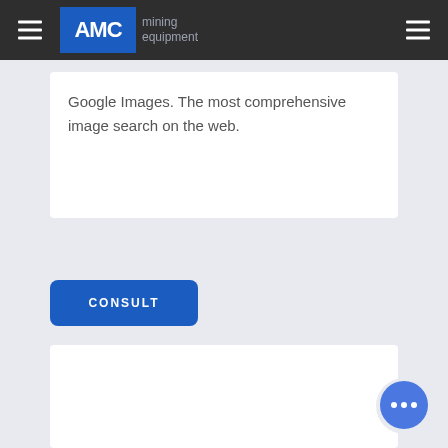AMC mining equipment
Google Images. The most comprehensive image search on the web.
CONSULT
[Figure (screenshot): White content card area below consult button]
[Figure (other): Blue circular chat bubble with ellipsis icon in bottom right corner]